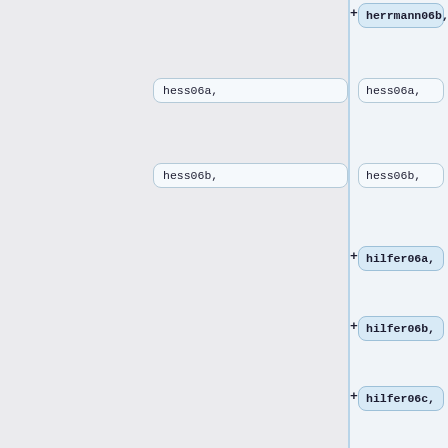+ herrmann06b,
hess06a,
hess06a,
hess06b,
hess06b,
+ hilfer06a,
+ hilfer06b,
+ hilfer06c,
+ hilfer06d,
+ holm06a,
+ holm06b,
+ kun06a,
+ kun06b,
limbach06a,
limbach06a,